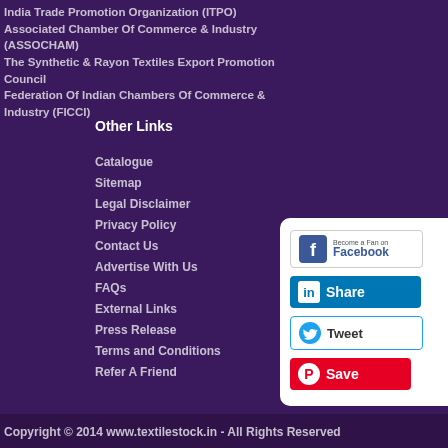India Trade Promotion Organization (ITPO)
Associated Chamber Of Commerce & Industry (ASSOCHAM)
The Synthetic & Rayon Textiles Export Promotion Council
Federation Of Indian Chambers Of Commerce & Industry (FICCI)
Other Links
Catalogue
Sitemap
Legal Disclaimer
Privacy Policy
Contact Us
Advertise With Us
FAQs
External Links
Press Release
Terms and Conditions
Refer A Friend
[Figure (infographic): Social sharing buttons: Facebook (Become a Fan), LinkedIn Share, Twitter Tweet, Pinterest Save]
Copyright © 2014 www.textilestock.in - All Rights Reserved